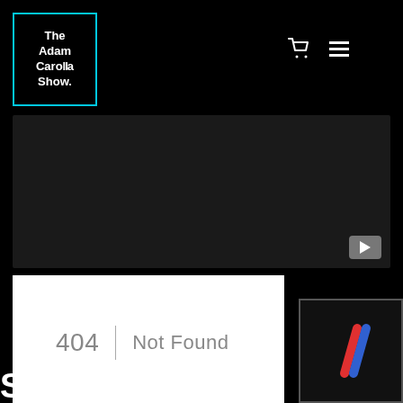The Adam Carolla Show. [navigation icons]
[Figure (screenshot): Dark video player area with a YouTube play button in the bottom-right corner]
404 | Not Found
[Figure (logo): Superfan Sidebar widget logo with two diagonal stripes in red and blue on dark background]
Superfan Sidebar